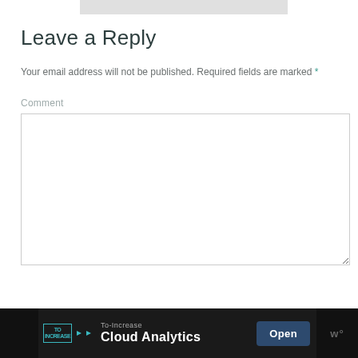Leave a Reply
Your email address will not be published. Required fields are marked *
Comment
[Figure (screenshot): Empty comment text area input box]
[Figure (screenshot): Advertisement banner: To-Increase Cloud Analytics with Open button]